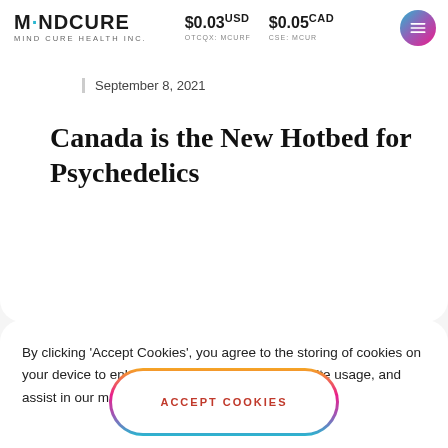MINDCURE | MIND CURE HEALTH INC. | $0.03 USD OTCQX: MCURF | $0.05 CAD CSE: MCUR
September 8, 2021
Canada is the New Hotbed for Psychedelics
By clicking 'Accept Cookies', you agree to the storing of cookies on your device to enhance site navigation, analyze site usage, and assist in our marketing efforts.
ACCEPT COOKIES